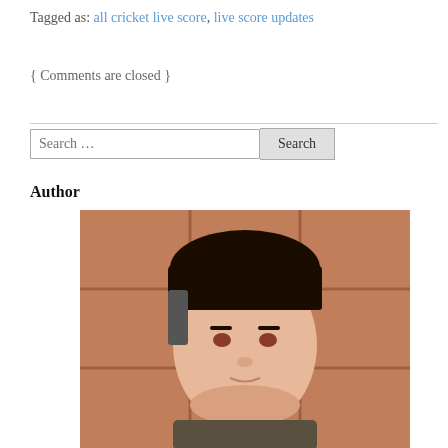Tagged as: all cricket live score, live score updates
{ Comments are closed }
[Figure (other): Search bar with text input and Search button]
Author
[Figure (photo): Portrait photo of a young man with short hair against a brown tiled wall, with social media icons (Facebook, Google+, Twitter, More) on the left side]